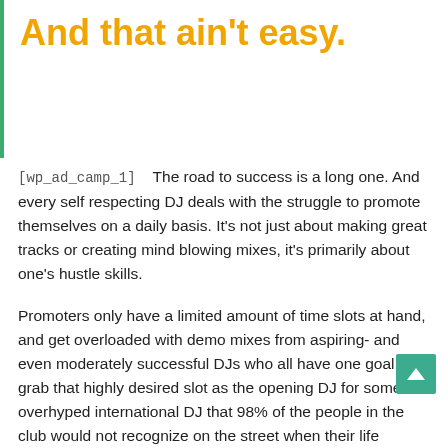And that ain't easy.
[wp_ad_camp_1]    The road to success is a long one. And every self respecting DJ deals with the struggle to promote themselves on a daily basis. It’s not just about making great tracks or creating mind blowing mixes, it’s primarily about one’s hustle skills.
Promoters only have a limited amount of time slots at hand, and get overloaded with demo mixes from aspiring- and even moderately successful DJs who all have one goal: To grab that highly desired slot as the opening DJ for some overhyped international DJ that 98% of the people in the club would not recognize on the street when their life depends on it.
Since promoters like DJs who they can massively underpay for all their hard work, they do need to sift through the pile. And that ain’t easy.